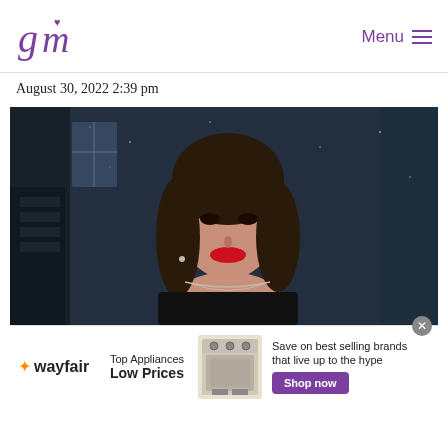gm (logo) | Menu ≡
August 30, 2022 2:39 pm
[Figure (photo): Young woman with short brown hair and red lips wearing a black top and layered necklaces, posing against a dark glittery background.]
[Figure (infographic): Wayfair advertisement banner: 'Top Appliances Low Prices — Save on best selling brands that live up to the hype — Shop now' with an image of a stove/range appliance.]